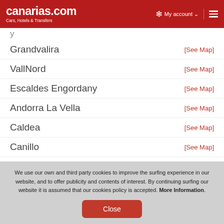canarias.com Cars, Hotels & Transfers | My account
Grandvalira [See Map]
VallNord [See Map]
Escaldes Engordany [See Map]
Andorra La Vella [See Map]
Caldea [See Map]
Canillo [See Map]
Encamp [See Map]
La Massana [See Map]
We use our own and third party cookies to improve the surfing experience in our website, and to offer publicity and contents of interest. By continuing surfing our website it is assumed that our cookies policy is accepted. More Information. Close